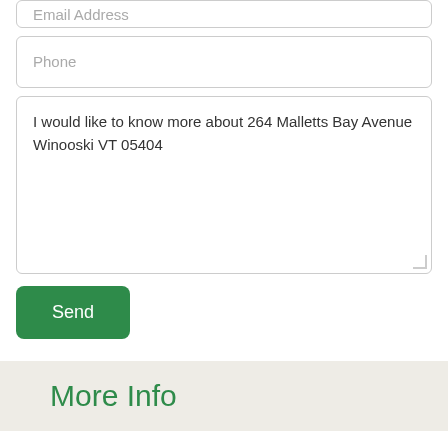[Figure (screenshot): Email Address input field (partially visible at top)]
[Figure (screenshot): Phone input field]
I would like to know more about 264 Malletts Bay Avenue Winooski VT 05404
[Figure (screenshot): Send button (green rounded rectangle)]
More Info
Basic Information